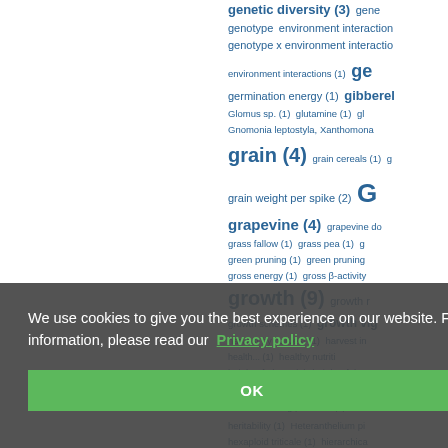[Figure (other): Tag cloud of agricultural/botanical keywords with frequency counts. Keywords shown in varying sizes proportional to frequency. Includes terms like genetic diversity (3), genotype, environment interactions, germination energy (1), gibberel..., Glomus sp. (1), glutamine (1), gl..., Gnomonia leptostyla Xanthomona..., grain (4), grain cereals (1), grain weight per spike (2), grapevine (4), grapevine do..., grass fallow (1), grass pea (1), g..., green pruning (1), green pruning ..., gross energy (1), gross β-activity..., growth (9), growth r..., growth schemes (1), growth vig..., harvest by harvest (1), harvest in..., health... (1), healthy nutriti..., height of plants (1), height of the ..., Helianthus praecox (1), Helianthu..., herbal smoking products (1), her..., heritability (1), Heteranthelium pi..., hexaploid triticale (1), hierarchica...]
We use cookies to give you the best experience on our website. For more information, please read our Privacy policy